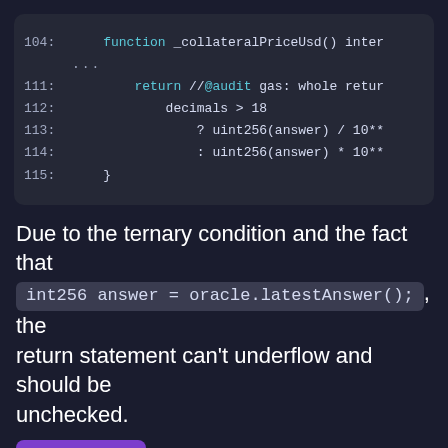[Figure (screenshot): Code block showing Solidity function _collateralPriceUsd() with lines 104, 111-115. Line 111 has a return statement with @audit comment about gas, lines 112-114 show ternary expression for decimals > 18 with uint256 operations, line 115 closes the function.]
Due to the ternary condition and the fact that int256 answer = oracle.latestAnswer();, the return statement can't underflow and should be unchecked.
[Figure (other): Purple 'Top' button]
[G-10]